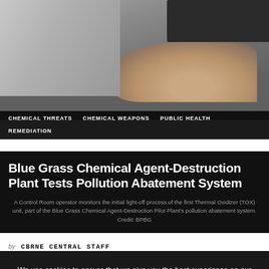[Figure (photo): Person's hand on desk near keyboard, viewed from above, in a control room setting]
CHEMICAL THREATS   CHEMICAL WEAPONS   PUBLIC HEALTH   REMEDIATION
Blue Grass Chemical Agent-Destruction Plant Tests Pollution Abatement System
A Control Room operator monitors the initial light-off process of the first Thermal Oxidizer (TOX) unit, part of the Blue Grass Chemical Agent-Destruction Pilot Plant's pollution abatement system. Credit: BPBG
by CBRNE CENTRAL STAFF
We use cookies to ensure that we give you the best experience on our website. If you continue to use this site we will assume that you are happy with it.
Ok   Privacy policy